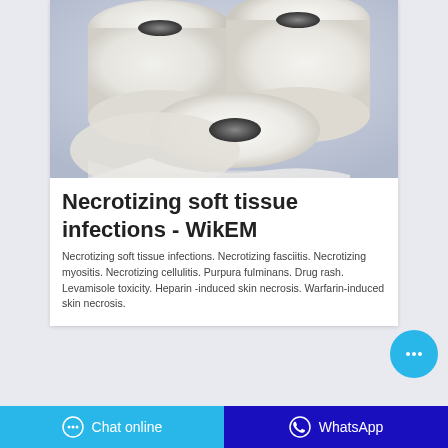[Figure (photo): Three rolls of white tissue/paper towels stacked together on a light blue-grey background]
Necrotizing soft tissue infections - WikEM
Necrotizing soft tissue infections. Necrotizing fasciitis. Necrotizing myositis. Necrotizing cellulitis. Purpura fulminans. Drug rash. Levamisole toxicity. Heparin-induced skin necrosis. Warfarin-induced skin necrosis.
Chat online | WhatsApp